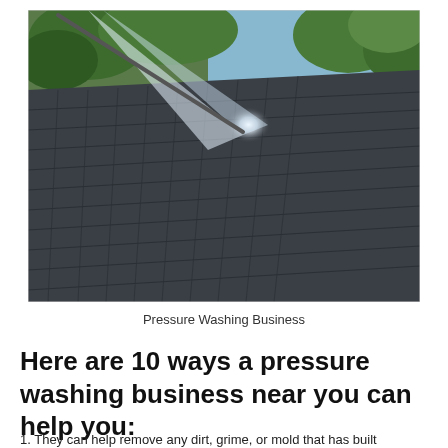[Figure (photo): A pressure washing wand spraying water on a dark shingled roof, with green trees and grass visible in the background.]
Pressure Washing Business
Here are 10 ways a pressure washing business near you can help you:
1. They can help remove any dirt, grime, or mold that has built